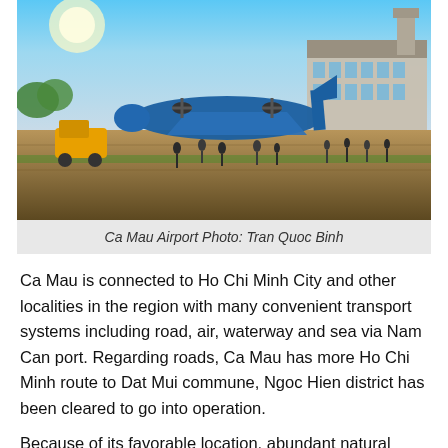[Figure (photo): Ca Mau Airport tarmac scene with a propeller aircraft (blue and white livery) parked on the runway, a yellow ground vehicle to the left, passengers walking on the tarmac, and the airport terminal building visible on the right side. Clear blue sky in the background with green trees.]
Ca Mau Airport Photo: Tran Quoc Binh
Ca Mau is connected to Ho Chi Minh City and other localities in the region with many convenient transport systems including road, air, waterway and sea via Nam Can port. Regarding roads, Ca Mau has more Ho Chi Minh route to Dat Mui commune, Ngoc Hien district has been cleared to go into operation.
Because of its favorable location, abundant natural resources, the characteristics of the forest, the sea, the climate is very temperate — giving Ca Mau many…